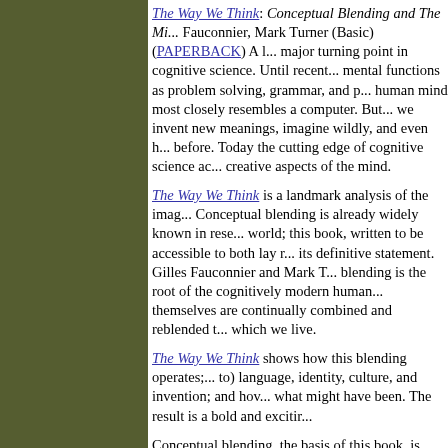The Way We Think: Conceptual Blending and The Mi... Fauconnier, Mark Turner (Basic) (PAPERBACK) A ... major turning point in cognitive science. Until recent... mental functions as problem solving, grammar, and p... human mind most closely resembles a computer. But... we invent new meanings, imagine wildly, and even h... before. Today the cutting edge of cognitive science a... creative aspects of the mind.
The Way We Think is a landmark analysis of the imag... Conceptual blending is already widely known in rese... world; this book, written to be accessible to both lay ... its definitive statement. Gilles Fauconnier and Mark T... blending is the root of the cognitively modern human... themselves are continually combined and reblended t... which we live.
The Way We Think shows how this blending operates;... to) language, identity, culture, and invention; and how... what might have been. The result is a bold and exciti...
Conceptual blending, the basis of this book, is basic... two different concepts, form a cognitive link between... concept that is a blending together of the first two (ve... and synthesis concepts). This ability is what has allo... beyond simple logic into creative thinking. It is what... develop religious thought, create a language and eng... required insight and intuitive thinking. The Way We T... this blending and how it not only has affected our pas...